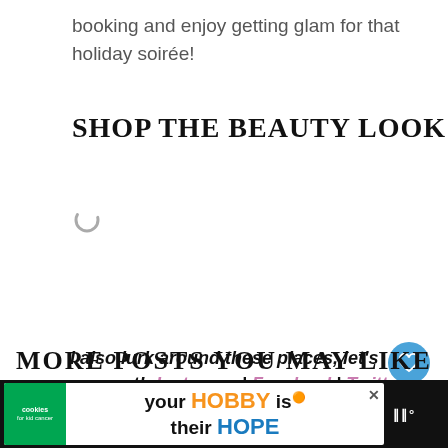booking and enjoy getting glam for that holiday soirée!
SHOP THE BEAUTY LOOK
[Figure (other): Loading spinner icon]
I also lurk around these places, let's connect!: Instagram| Facebook| Twitter | Pin* ...est
[Figure (other): Blue heart/like button circle icon]
[Figure (other): Share button circle icon]
[Figure (other): What's Next navigation: Navy Floral Jumpsuit +...]
MORE POSTS YOU MAY LIKE
[Figure (screenshot): Advertisement bar at bottom: cookies for kid cancer - your HOBBY is their HOPE]